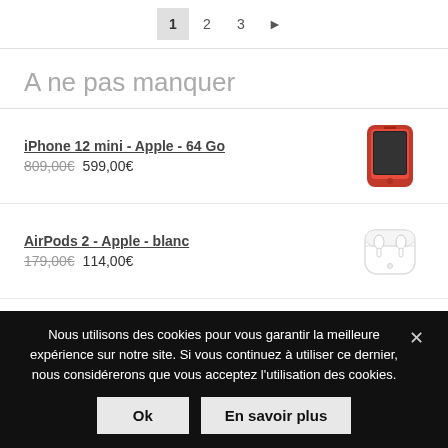1  2  3  ▶
A ne pas manquer
iPhone 12 mini - Apple - 64 Go
809,00€ 599,00€
AirPods 2 - Apple - blanc
179,00€ 114,00€
Nous utilisons des cookies pour vous garantir la meilleure expérience sur notre site. Si vous continuez à utiliser ce dernier, nous considérerons que vous acceptez l'utilisation des cookies.
Ok  En savoir plus